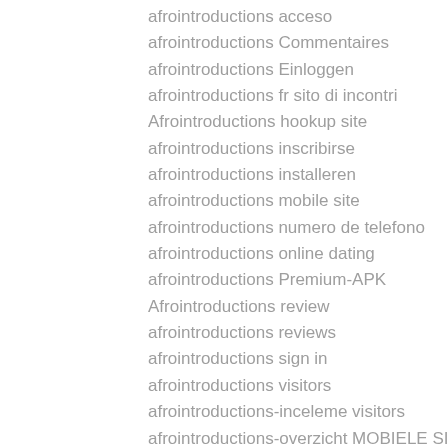afrointroductions acceso
afrointroductions Commentaires
afrointroductions Einloggen
afrointroductions fr sito di incontri
Afrointroductions hookup site
afrointroductions inscribirse
afrointroductions installeren
afrointroductions mobile site
afrointroductions numero de telefono
afrointroductions online dating
afrointroductions Premium-APK
Afrointroductions review
afrointroductions reviews
afrointroductions sign in
afrointroductions visitors
afrointroductions-inceleme visitors
afrointroductions-overzicht MOBIELE SITE
Afroromance app simili
afroromance busqueda de perfil